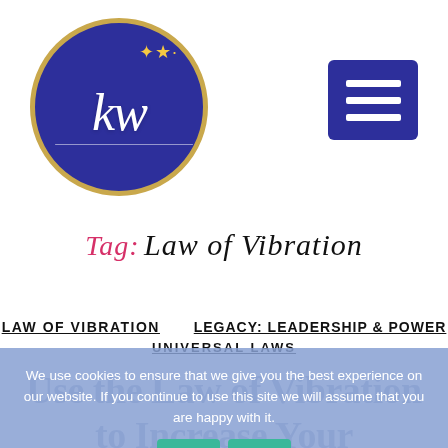[Figure (logo): Circular logo with gold border, dark blue/purple background, cursive 'kw' text in white with small gold stars, decorative underline]
[Figure (other): Dark blue/purple square hamburger menu button with three white horizontal lines]
Tag: Law of Vibration
LAW OF VIBRATION   LEGACY: LEADERSHIP & POWER   UNIVERSAL LAWS
Use the Law of Vibration to Increase Your
We use cookies to ensure that we give you the best experience on our website. If you continue to use this site we will assume that you are happy with it.